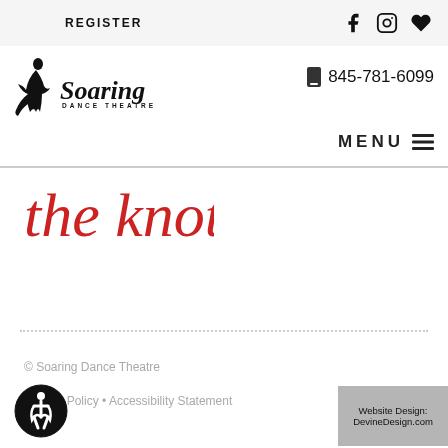REGISTER
[Figure (logo): Soaring Dance Theatre logo with dancer silhouette and text]
845-781-6099
MENU
[Figure (logo): The Knot logo in red cursive script]
© Soaring Dance Theatre
Privacy Policy • Accessibility Statement
Website Design: DevineDesign.com